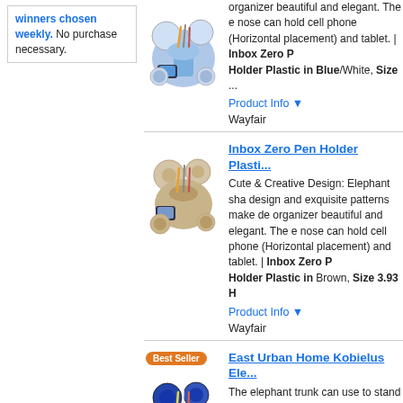winners chosen weekly. No purchase necessary.
[Figure (photo): Elephant pen holder product image with phone slot - blue/white]
organizer beautiful and elegant. The e nose can hold cell phone (Horizontal placement) and tablet. | Inbox Zero Pen Holder Plastic in Blue/White, Size ...
Product Info ▼
Wayfair
Inbox Zero Pen Holder Plasti...
[Figure (photo): Elephant pen holder product image - brown]
Cute & Creative Design: Elephant sha design and exquisite patterns make de organizer beautiful and elegant. The e nose can hold cell phone (Horizontal placement) and tablet. | Inbox Zero Pen Holder Plastic in Brown, Size 3.93 H
Product Info ▼
Wayfair
East Urban Home Kobielus Ele...
[Figure (photo): Elephant desk organizer - Best Seller badge, blue/purple]
The elephant trunk can use to stand yo horizontally or vertically, free your han compartment container that can hold s more
Product Info ▼
kungreatbig Elephant Pen Hol...
[Figure (photo): Elephant pen holder on desk - pink flower]
The elephant pencil holder is made fr using toxic substances and smell. Cute surface enable the elephant desk orga